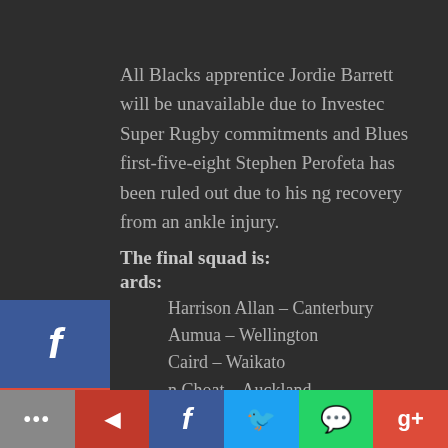All Blacks apprentice Jordie Barrett will be unavailable due to Investec Super Rugby commitments and Blues first-five-eight Stephen Perofeta has been ruled out due to his ongoing recovery from an ankle injury.
The final squad is:
Forwards:
Harrison Allan – Canterbury
Aumua – Wellington
Caird – Waikato
n Choat – Auckland
Christie – Canterbury
Coxon – Waikato
arrell – Hawkes Bay
Alex Fidow – Wellington
[Figure (infographic): Social sharing sidebar buttons: Facebook (blue), Google+ (red), Twitter (light blue), Pinterest (dark red), Blogger (orange), overlaid on the left side of the page]
[Figure (infographic): Bottom sharing bar with icons: dots/more (grey), mail/bookmark (red), Facebook (blue), Twitter (light blue), WhatsApp (green), Google+ (red)]